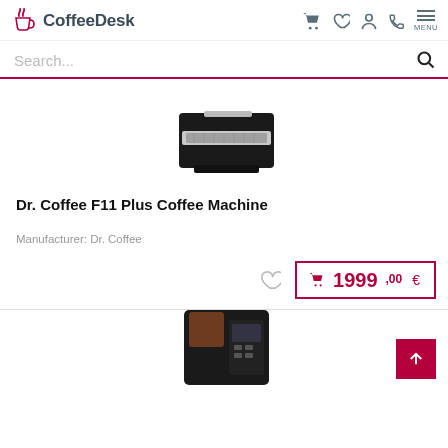CoffeeDesk
Search...
[Figure (photo): Dr. Coffee F11 Plus Coffee Machine product photo — black coffee machine with silver drip tray, top-down angled view]
Dr. Coffee F11 Plus Coffee Machine
Manufacturer: Dr. Coffee
1999,00 €
[Figure (photo): Second coffee machine product photo — black machine with brown accents and display panel, partially visible]